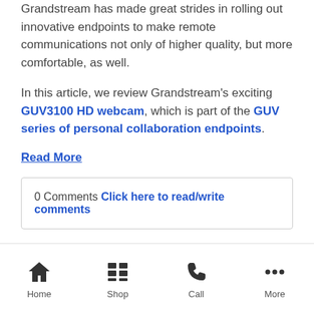Grandstream has made great strides in rolling out innovative endpoints to make remote communications not only of higher quality, but more comfortable, as well.
In this article, we review Grandstream's exciting GUV3100 HD webcam, which is part of the GUV series of personal collaboration endpoints.
Read More
0 Comments Click here to read/write comments
Topics: Grandstream, Peripherals, Trends, Mobility, Video Conferencing, Productivity, Product Review,
Home  Shop  Call  More